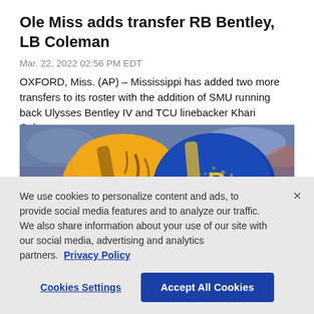Ole Miss adds transfer RB Bentley, LB Coleman
Mar. 22, 2022 02:56 PM EDT
OXFORD, Miss. (AP) – Mississippi has added two more transfers to its roster with the addition of SMU running back Ulysses Bentley IV and TCU linebacker Khari Coleman...
[Figure (photo): Two football helmets side by side — an orange/yellow helmet on the left and a blue/gold helmet on the right, photographed close-up during a game.]
We use cookies to personalize content and ads, to provide social media features and to analyze our traffic. We also share information about your use of our site with our social media, advertising and analytics partners.  Privacy Policy
Cookies Settings
Accept All Cookies